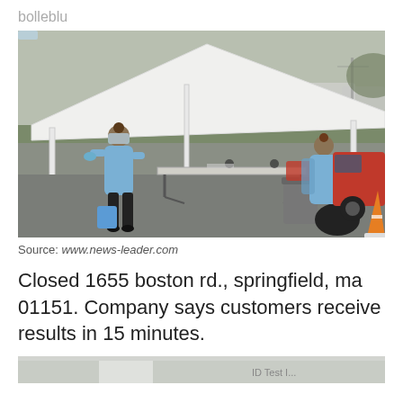bolleblu
[Figure (photo): Outdoor COVID-19 drive-through testing site. Two healthcare workers in blue PPE gowns, gloves, and face shields. One stands at a folding table under a white pop-up canopy tent, the other attends to a red pickup truck. A traffic cone, trash can, and blue bin are visible on the pavement.]
Source: www.news-leader.com
Closed 1655 boston rd., springfield, ma 01151. Company says customers receive results in 15 minutes.
[Figure (photo): Partial view of another photo at the bottom of the page, cropped.]